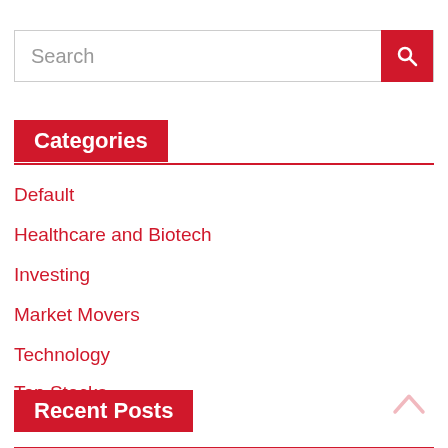[Figure (screenshot): Search bar with a text input field labeled 'Search' and a red button with a magnifying glass icon]
Categories
Default
Healthcare and Biotech
Investing
Market Movers
Technology
Top Stocks
Recent Posts